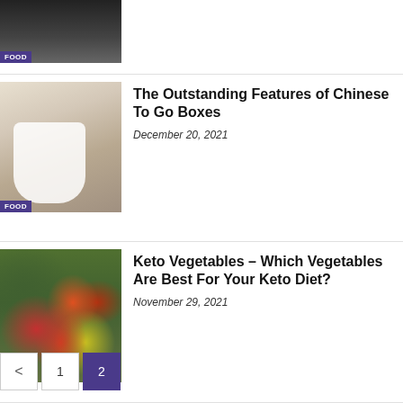[Figure (photo): Partial food photo at top, dark background with FOOD label]
[Figure (photo): White Chinese takeout box with food, FOOD label overlay]
The Outstanding Features of Chinese To Go Boxes
December 20, 2021
[Figure (photo): Assorted keto vegetables spread, FOOD label overlay]
Keto Vegetables – Which Vegetables Are Best For Your Keto Diet?
November 29, 2021
< 1 2